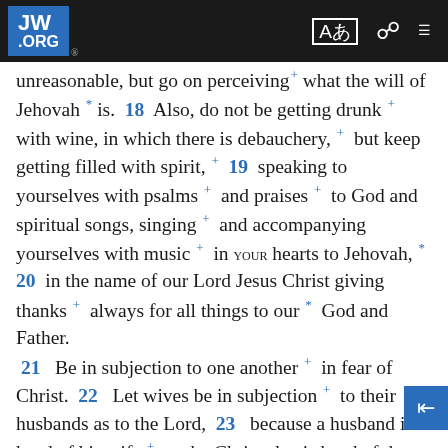JW.ORG navigation bar with logo, translate icon, search icon, and menu icon
unreasonable, but go on perceiving+ what the will of Jehovah* is. 18 Also, do not be getting drunk+ with wine, in which there is debauchery,+ but keep getting filled with spirit,+ 19 speaking to yourselves with psalms+ and praises+ to God and spiritual songs, singing+ and accompanying yourselves with music+ in YOUR hearts to Jehovah,* 20 in the name of our Lord Jesus Christ giving thanks+ always for all things to our* God and Father. 21 Be in subjection to one another+ in fear of Christ. 22 Let wives be in subjection+ to their husbands as to the Lord, 23 because a husband is head of his wife+ as the Christ also is head of the congregation,+ he being a savior of [this] body. 24 In fact, as the congregation is in subjection to the Christ, so let wives also be to their husbands in